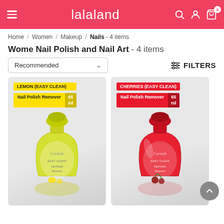lalaland
Home / Women / Makeup / Nails - 4 items
Wome Nail Polish and Nail Art - 4 items
Recommended
FILTERS
[Figure (photo): Lemon Easy Clean Nail Polish Remover 65ml yellow bottle by Cornish]
[Figure (photo): Cherries Easy Clean Nail Polish Remover 65ml red bottle by Cornish]